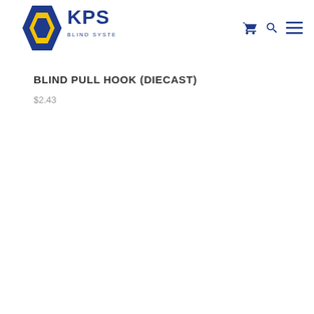[Figure (logo): KPS Blind Systems & Textiles logo with geometric diamond shape in blue and yellow and KPS text in dark blue]
BLIND PULL HOOK (DIECAST)
$2.43